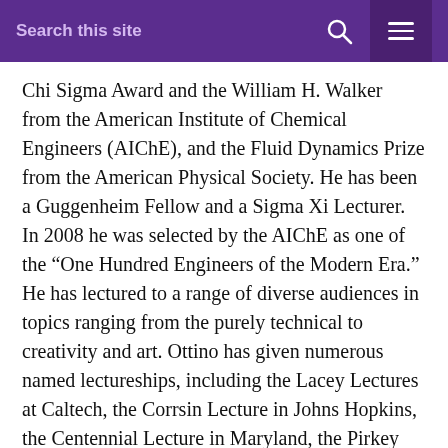Search this site
Chi Sigma Award and the William H. Walker from the American Institute of Chemical Engineers (AIChE), and the Fluid Dynamics Prize from the American Physical Society. He has been a Guggenheim Fellow and a Sigma Xi Lecturer. In 2008 he was selected by the AIChE as one of the “One Hundred Engineers of the Modern Era.” He has lectured to a range of diverse audiences in topics ranging from the purely technical to creativity and art. Ottino has given numerous named lectureships, including the Lacey Lectures at Caltech, the Corrsin Lecture in Johns Hopkins, the Centennial Lecture in Maryland, the Pirkey Lecture at Texas/Austin, and the Danckwerts Lecture in England.
He is a fellow of the American Physical Society and the American Association for the Advancement of Science